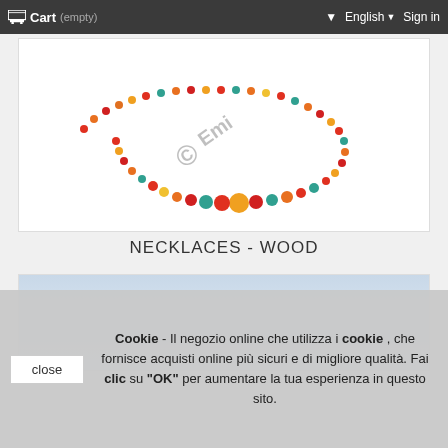Cart (empty)   English   Sign in
[Figure (photo): Colorful wooden bead necklace with red, yellow, turquoise and orange beads, arranged in an oval shape on white background with copyright watermark]
NECKLACES - WOOD
[Figure (photo): Partially visible second product photo with light blue/grey background]
Cookie - Il negozio online che utilizza i cookie , che fornisce acquisti online più sicuri e di migliore qualità. Fai clic su "OK" per aumentare la tua esperienza in questo sito.